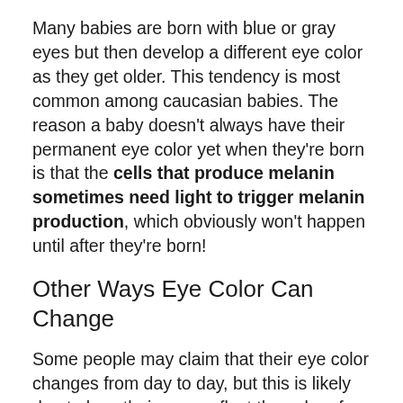Many babies are born with blue or gray eyes but then develop a different eye color as they get older. This tendency is most common among caucasian babies. The reason a baby doesn't always have their permanent eye color yet when they're born is that the cells that produce melanin sometimes need light to trigger melanin production, which obviously won't happen until after they're born!
Other Ways Eye Color Can Change
Some people may claim that their eye color changes from day to day, but this is likely due to how their eyes reflect the color of the clothes they choose each day. Eye color can appear different if the pupil changes size or if the person is in bright or dim light. Apart from the gradual change over time if their eyes produce more melanin as they get older, an eye injury could